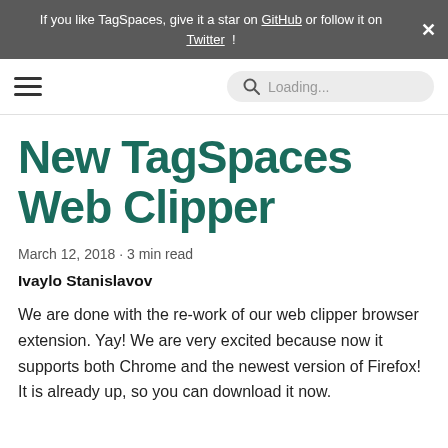If you like TagSpaces, give it a star on GitHub or follow it on Twitter !
[Figure (other): Navigation bar with hamburger menu icon on the left and a search box with 'Loading...' placeholder on the right]
New TagSpaces Web Clipper
March 12, 2018 · 3 min read
Ivaylo Stanislavov
We are done with the re-work of our web clipper browser extension. Yay! We are very excited because now it supports both Chrome and the newest version of Firefox! It is already up, so you can download it now.